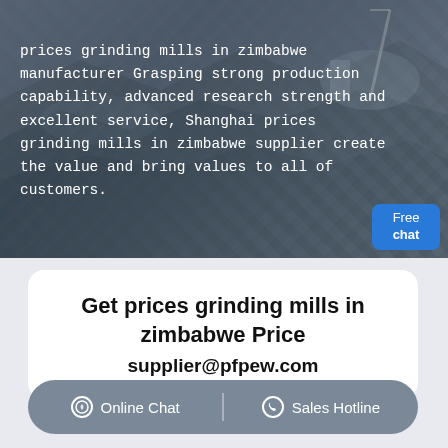[Figure (photo): Aerial view of an open-pit mine or quarry with heavy machinery and equipment, dark rocky terrain viewed from above.]
prices grinding mills in zimbabwe manufacturer Grasping strong production capability, advanced research strength and excellent service, Shanghai prices grinding mills in zimbabwe supplier create the value and bring values to all of customers.
Get prices grinding mills in zimbabwe Price
supplier@pfpew.com
Online Chat   Sales Hotline